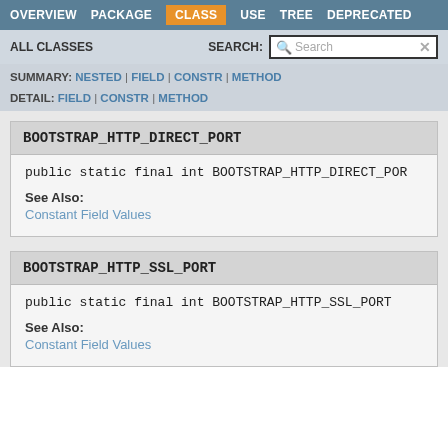OVERVIEW | PACKAGE | CLASS | USE | TREE | DEPRECATED
ALL CLASSES  SEARCH: Search
SUMMARY: NESTED | FIELD | CONSTR | METHOD
DETAIL: FIELD | CONSTR | METHOD
BOOTSTRAP_HTTP_DIRECT_PORT
public static final int BOOTSTRAP_HTTP_DIRECT_POR
See Also:
Constant Field Values
BOOTSTRAP_HTTP_SSL_PORT
public static final int BOOTSTRAP_HTTP_SSL_PORT
See Also:
Constant Field Values